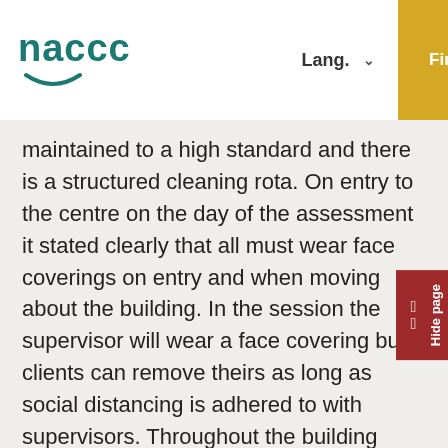naccc | Lang. | Find a centre | MENU
maintained to a high standard and there is a structured cleaning rota. On entry to the centre on the day of the assessment it stated clearly that all must wear face coverings on entry and when moving about the building. In the session the supervisor will wear a face covering but clients can remove theirs as long as social distancing is adhered to with supervisors. Throughout the building there are hand sanitisers along with cleaning products (stored in a secure cupboard) and hand sanitisers in